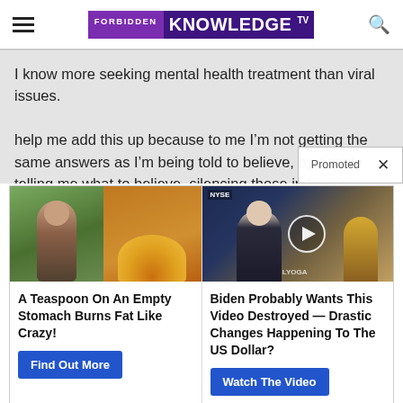FORBIDDEN KNOWLEDGE TV
I know more seeking mental health treatment than viral issues.

help me add this up because to me I’m not getting the same answers as I’m being told to believe, by people telling me what to believe, silencing those in hearing ra…
[Figure (screenshot): Promoted label with X close button]
[Figure (photo): Ad image: woman with toned stomach left, yellow spice powder right]
A Teaspoon On An Empty Stomach Burns Fat Like Crazy!
Find Out More
[Figure (screenshot): Video thumbnail: man in suit on news set with NYSE background, play button overlay, LYOGA watermark]
Biden Probably Wants This Video Destroyed — Drastic Changes Happening To The US Dollar?
Watch The Video